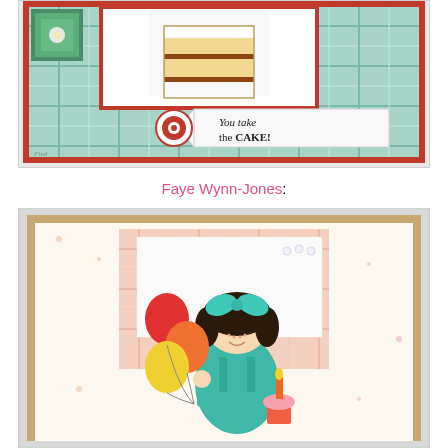[Figure (photo): Handmade greeting card with plaid background, red border, cake slice image, circular button embellishment, and banner reading 'You take the CAKE!']
Faye Wynn-Jones:
[Figure (photo): Handmade birthday card featuring a cartoon girl with teal bow holding colorful balloons and a cupcake with candle, on floral patterned background]